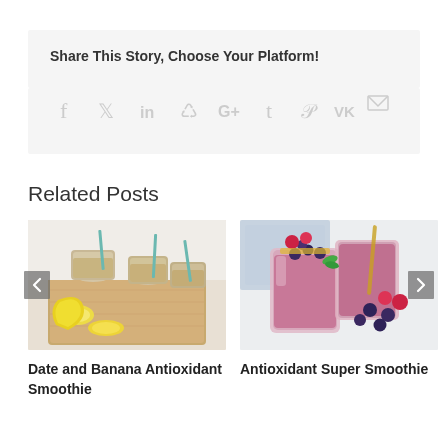Share This Story, Choose Your Platform!
[Figure (infographic): Social share icons: facebook, twitter, linkedin, reddit, google+, tumblr, pinterest, vk, email]
Related Posts
[Figure (photo): Date and Banana Antioxidant Smoothie - jars of beige smoothie with teal straws on wooden cutting board with banana slices]
Date and Banana Antioxidant Smoothie
[Figure (photo): Antioxidant Super Smoothie - two glasses of pink berry smoothie topped with blueberries, raspberries on white surface]
Antioxidant Super Smoothie